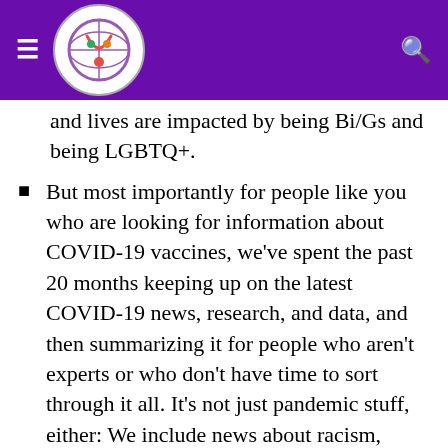[Navigation header with logo and search icon]
and lives are impacted by being Bi/Gs and being LGBTQ+.
But most importantly for people like you who are looking for information about COVID-19 vaccines, we've spent the past 20 months keeping up on the latest COVID-19 news, research, and data, and then summarizing it for people who aren't experts or who don't have time to sort through it all. It's not just pandemic stuff, either: We include news about racism, which is also a public health crisis. You can find all of that in the Public Health Crisis Updates that we post weekly here or get the super-simple summaries on our Facebook page here.